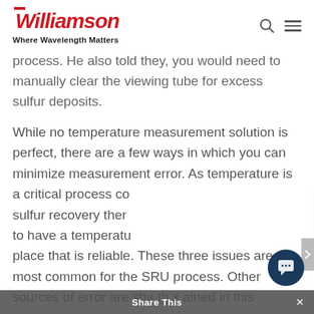Williamson — Where Wavelength Matters
process. He also told they, you would need to manually clear the viewing tube for excess sulfur deposits.
While no temperature measurement solution is perfect, there are a few ways in which you can minimize measurement error. As temperature is a critical process co... sulfur recovery ther... to have a temperatu... place that is reliable. These three issues are the most common for the SRU process. Other sources of error are sha... th... x... ained in this
Let's talk temperature measurement!